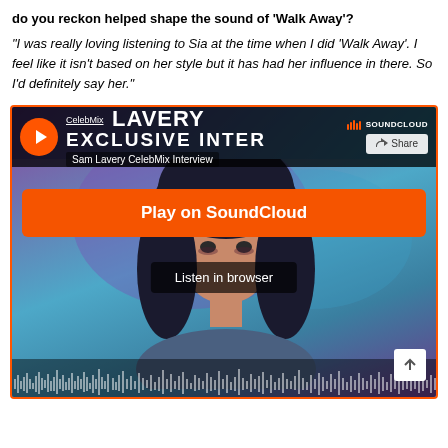do you reckon helped shape the sound of ‘Walk Away’?
“I was really loving listening to Sia at the time when I did ‘Walk Away’. I feel like it isn’t based on her style but it has had her influence in there. So I’d definitely say her.”
[Figure (screenshot): SoundCloud embedded player for Sam Lavery CelebMix Interview, showing a photo of a dark-haired young woman, a Play on SoundCloud button, a Listen in browser option, and an audio waveform at the bottom.]